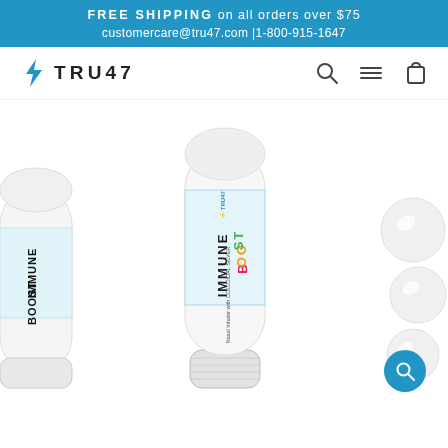FREE SHIPPING on all orders over $75 | customercare@tru47.com | 1-800-915-1647
[Figure (logo): TRU47 logo with lightning bolt icon and navigation icons (search, menu, cart)]
[Figure (photo): Three TRU47 Immune Boost nasal inhaler products with colloidal silver. Left shows partial inhaler, center shows full inhaler, right shows white capsule-like products.]